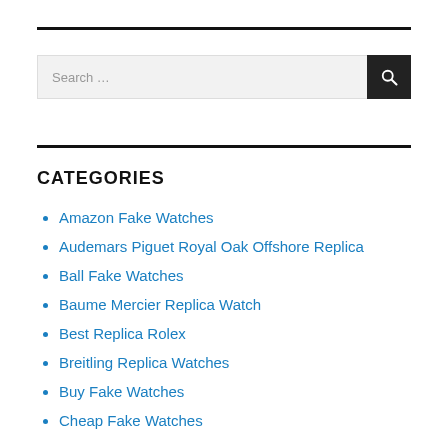[Figure (other): Horizontal rule divider line at top]
[Figure (other): Search bar with text input and search button]
[Figure (other): Horizontal rule divider line below search]
CATEGORIES
Amazon Fake Watches
Audemars Piguet Royal Oak Offshore Replica
Ball Fake Watches
Baume Mercier Replica Watch
Best Replica Rolex
Breitling Replica Watches
Buy Fake Watches
Cheap Fake Watches